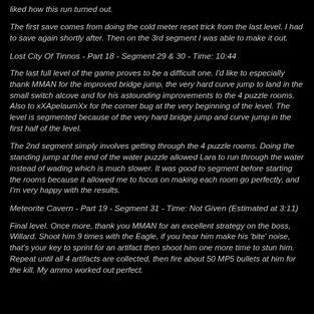liked how this run turned out.
The first save comes from doing the cold meter reset trick from the last level. I had to save again shortly after. Then on the 3rd segment I was able to make it out.
Lost City Of Tinnos - Part 18 - Segment 29 & 30 - Time: 10:44
The last full level of the game proves to be a difficult one. I'd like to especially thank MMAN for the improved bridge jump, the very hard curve jump to land in the small switch alcove and for his astounding improvements to the 4 puzzle rooms. Also to xXApelaumXx for the corner bug at the very beginning of the level. The level is segmented because of the very hard bridge jump and curve jump in the first half of the level.
The 2nd segment simply involves getting through the 4 puzzle rooms. Doing the standing jump at the end of the water puzzle allowed Lara to run through the water instead of wading which is much slower. It was good to segment before starting the rooms because it allowed me to focus on making each room go perfectly, and I'm very happy with the results.
Meteorite Cavern - Part 19 - Segment 31 - Time: Not Given (Estimated at 3:11)
Final level. Once more, thank you MMAN for an excellent strategy on the boss, Willard. Shoot him 9 times with the Eagle, if you hear him make his 'bite' noise, that's your key to sprint for an artifact then shoot him one more time to stun him. Repeat until all 4 artifacts are collected, then fire about 50 MP5 bullets at him for the kill. My ammo worked out perfect.